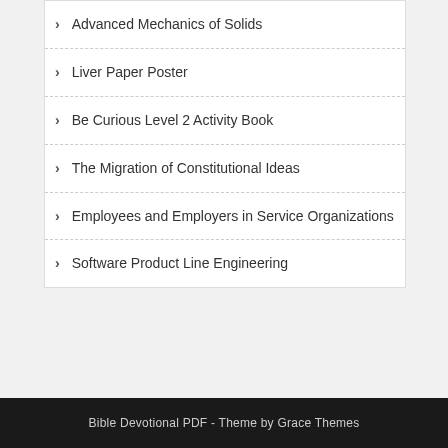Advanced Mechanics of Solids
Liver Paper Poster
Be Curious Level 2 Activity Book
The Migration of Constitutional Ideas
Employees and Employers in Service Organizations
Software Product Line Engineering
Bible Devotional PDF - Theme by Grace Themes